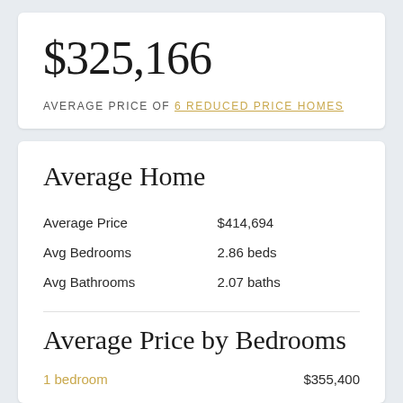$325,166
AVERAGE PRICE OF 6 REDUCED PRICE HOMES
Average Home
|  |  |
| --- | --- |
| Average Price | $414,694 |
| Avg Bedrooms | 2.86 beds |
| Avg Bathrooms | 2.07 baths |
Average Price by Bedrooms
1 bedroom   $355,400